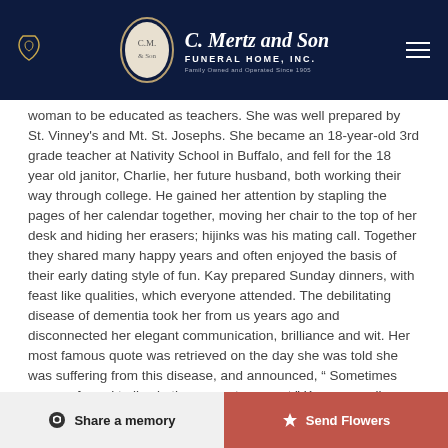C. Mertz and Son Funeral Home, Inc. — Family Owned and Operated Since 1905
woman to be educated as teachers. She was well prepared by St. Vinney's and Mt. St. Josephs. She became an 18-year-old 3rd grade teacher at Nativity School in Buffalo, and fell for the 18 year old janitor, Charlie, her future husband, both working their way through college. He gained her attention by stapling the pages of her calendar together, moving her chair to the top of her desk and hiding her erasers; hijinks was his mating call. Together they shared many happy years and often enjoyed the basis of their early dating style of fun. Kay prepared Sunday dinners, with feast like qualities, which everyone attended. The debilitating disease of dementia took her from us years ago and disconnected her elegant communication, brilliance and wit. Her most famous quote was retrieved on the day she was told she was suffering from this disease, and announced, “ Sometimes you are forced to live in the present moment.” Kay was well
Share a memory | Send Flowers